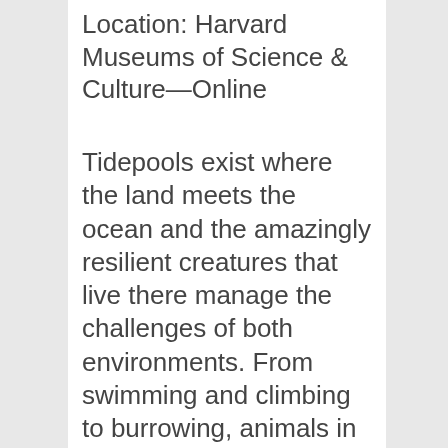Location: Harvard Museums of Science & Culture—Online
Tidepools exist where the land meets the ocean and the amazingly resilient creatures that live there manage the challenges of both environments. From swimming and climbing to burrowing, animals in tidepools have adapted many behaviors to live in an ever-changing world. Join human museum staffers Javier and Ryan as they lead you in a 45-minute program with live ocean invertebrates. This event will be fun for the whole family so bring your